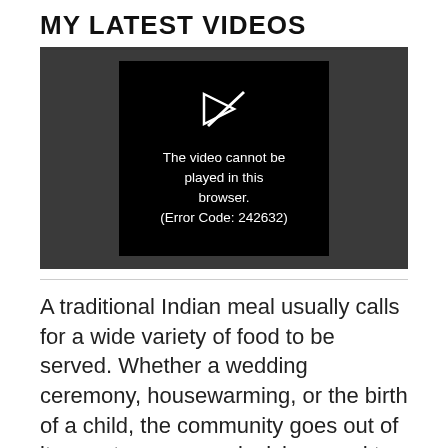MY LATEST VIDEOS
[Figure (screenshot): Video player showing error: 'The video cannot be played in this browser. (Error Code: 242632)']
A traditional Indian meal usually calls for a wide variety of food to be served. Whether a wedding ceremony, housewarming, or the birth of a child, the community goes out of its way to prepare a lavish spread to celebrate the joyous occasion.
Food is also an integral part of ritualistic